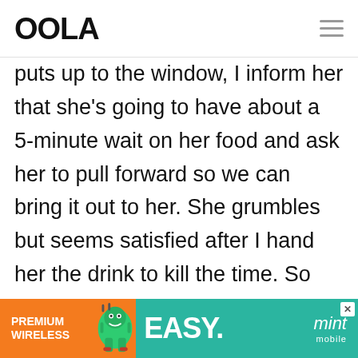OOLA
puts up to the window, I inform her that she's going to have about a 5-minute wait on her food and ask her to pull forward so we can bring it out to her. She grumbles but seems satisfied after I hand her the drink to kill the time. So fast forward 5 minutes to when the food comes
[Figure (infographic): Advertisement banner for Mint Mobile Premium Wireless showing orange and teal sections, cartoon character, text PREMIUM WIRELESS and EASY. mint mobile]